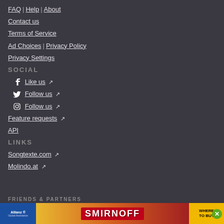FAQ | Help | About
Contact us
Terms of Service
Ad Choices | Privacy Policy
Privacy Settings
SOCIAL
Like us
Follow us
Follow us
Feature requests
API
LINKS
Songtexte.com
Molindo.at
FRIENDS & PARTNERS
[Figure (photo): Smirnoff advertisement banner with Allianz logo on left, colorful cans in center, Smirnoff logo, and WHERE TO BUY button on right]